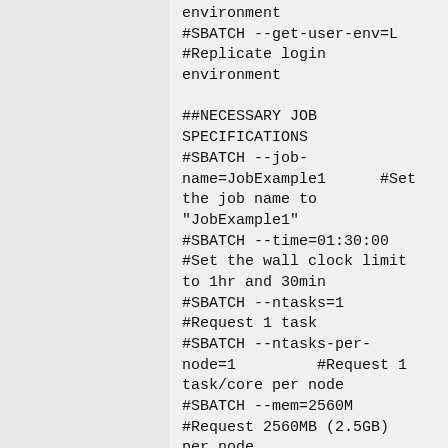environment
#SBATCH --get-user-env=L
#Replicate login environment

##NECESSARY JOB SPECIFICATIONS
#SBATCH --job-name=JobExample1      #Set the job name to "JobExample1"
#SBATCH --time=01:30:00
#Set the wall clock limit to 1hr and 30min
#SBATCH --ntasks=1
#Request 1 task
#SBATCH --ntasks-per-node=1         #Request 1 task/core per node
#SBATCH --mem=2560M
#Request 2560MB (2.5GB) per node
#SBATCH --output=Example1Out.%j
#Send stdout/err to